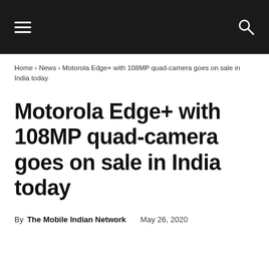[hamburger menu icon] [search icon]
Home › News › Motorola Edge+ with 108MP quad-camera goes on sale in India today
Motorola Edge+ with 108MP quad-camera goes on sale in India today
By The Mobile Indian Network   May 26, 2020